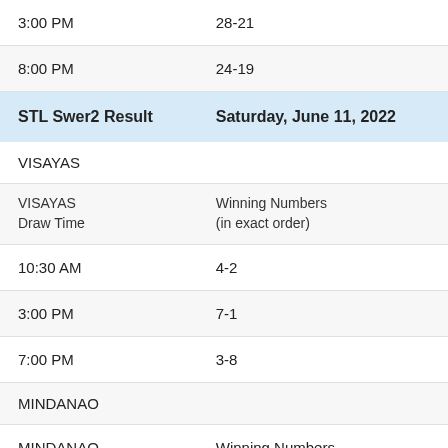| Draw Time | Winning Numbers (in exact order) |
| --- | --- |
| 3:00 PM | 28-21 |
| 8:00 PM | 24-19 |
| STL Swer2 Result | Saturday, June 11, 2022 |
| VISAYAS |  |
| VISAYAS Draw Time | Winning Numbers (in exact order) |
| 10:30 AM | 4-2 |
| 3:00 PM | 7-1 |
| 7:00 PM | 3-8 |
| MINDANAO |  |
| MINDANAO | Winning Numbers |